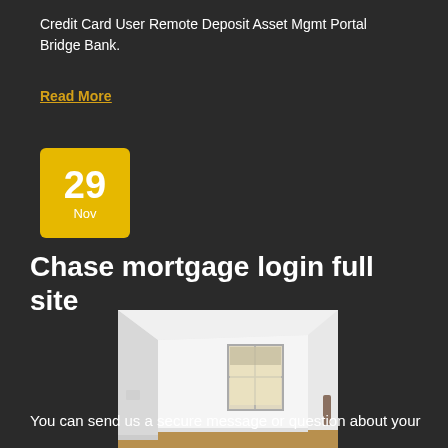Credit Card User Remote Deposit Asset Mgmt Portal Bridge Bank.
Read More
[Figure (other): Date badge showing 29 Nov in gold/yellow square]
Chase mortgage login full site
[Figure (photo): Empty room with white walls, wooden floor, a window with blinds, and a door handle visible on the right side]
You can send us a secure message or question about your